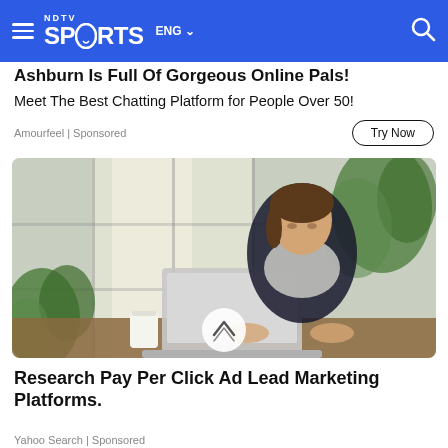NDTV SPORTS ENG
Ashburn Is Full Of Gorgeous Online Pals!
Meet The Best Chatting Platform for People Over 50!
Amourfeel | Sponsored
[Figure (photo): Woman working on a laptop in a bright, plant-filled office or cafe setting with large windows in the background. A circular scroll/up button is overlaid at the center-bottom.]
Research Pay Per Click Ad Lead Marketing Platforms.
Yahoo Search | Sponsored